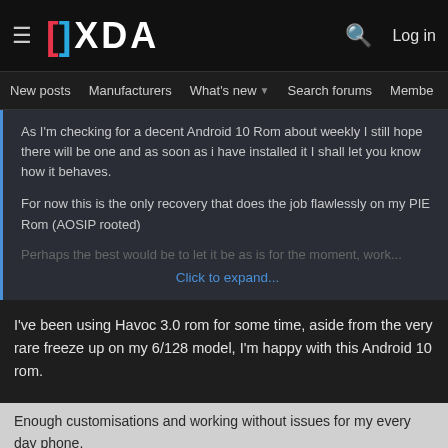[Figure (screenshot): XDA Developers forum website header with logo, hamburger menu, search icon, and Log in link]
New posts  Manufacturers  What's new  Search forums  Membe  >
As I'm checking for a decent Android 10 Rom about weekly I still hope there will be one and as soon as i have installed it I shall let you know how it behaves.

For now this is the only recovery that does the job flawlessly on my PIE Rom (AOSIP rooted)

Perhaps the best would be to let it be as is for the moment, work…
Click to expand...
I've been using Havoc 3.0 rom for some time, aside from the very rare freeze up on my 6/128 model, I'm happy with this Android 10 rom.
Enough customisations and working without issues for my every day phone.
Still, I will however,
[Figure (screenshot): Hulu Disney+ ESPN+ advertisement banner with GET THE DISNEY BUNDLE call to action button]